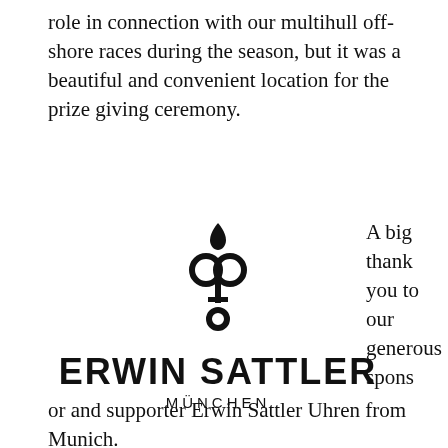role in connection with our multihull off-shore races during the season, but it was a beautiful and convenient location for the prize giving ceremony.
[Figure (logo): Erwin Sattler München logo with decorative key-like symbol above the brand name]
A big thank you to our generous sponsor and supporter Erwin Sattler Uhren from Munich.